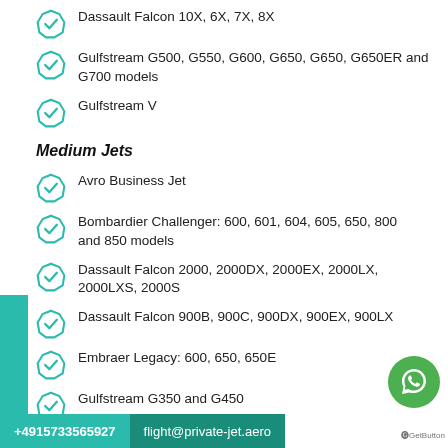Dassault Falcon 10X, 6X, 7X, 8X
Gulfstream G500, G550, G600, G650, G650, G650ER and G700 models
Gulfstream V
Medium Jets
Avro Business Jet
Bombardier Challenger: 600, 601, 604, 605, 650, 800 and 850 models
Dassault Falcon 2000, 2000DX, 2000EX, 2000LX, 2000LXS, 2000S
Dassault Falcon 900B, 900C, 900DX, 900EX, 900LX
Embraer Legacy: 600, 650, 650E
Gulfstream G350 and G450
G...
+4915733565927 | flight@private-jet.aero